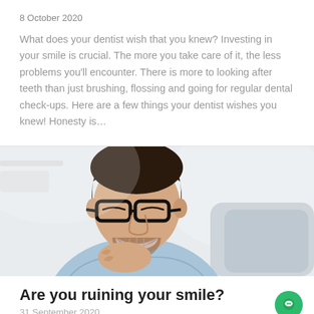8 October 2020
What does your dentist wish that you knew? Investing in your smile is crucial. The more you take care of it, the less problems you'll encounter. There is more to looking after teeth than just brushing, flossing and going for regular dental check-ups. Here are a few things your dentist wishes you knew! Honesty is…
[Figure (photo): A smiling man with dark hair wearing black-rimmed glasses, resting his chin on his hand, wearing a light blue shirt. Background is light/white.]
Are you ruining your smile?
31 September 2020